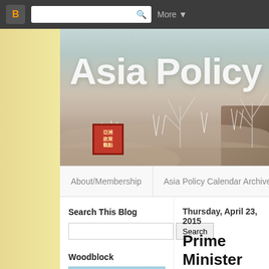[Figure (screenshot): Blogger browser toolbar with search bar and More button]
[Figure (illustration): Asia Policy Point blog banner with Asian watercolor landscape painting and large white title text 'Asia Policy Po']
About/Membership | Asia Policy Calendar Archive | Japa
Search This Blog
Woodblock
Thursday, April 23, 2015
Prime Minister of 2014
More Electioneering!